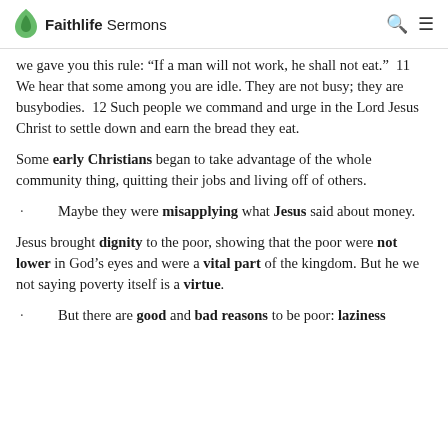Faithlife Sermons
we gave you this rule: “If a man will not work, he shall not eat.”  11 We hear that some among you are idle. They are not busy; they are busybodies.  12 Such people we command and urge in the Lord Jesus Christ to settle down and earn the bread they eat.
Some early Christians began to take advantage of the whole community thing, quitting their jobs and living off of others.
Maybe they were misapplying what Jesus said about money.
Jesus brought dignity to the poor, showing that the poor were not lower in God’s eyes and were a vital part of the kingdom. But he we not saying poverty itself is a virtue.
But there are good and bad reasons to be poor: laziness